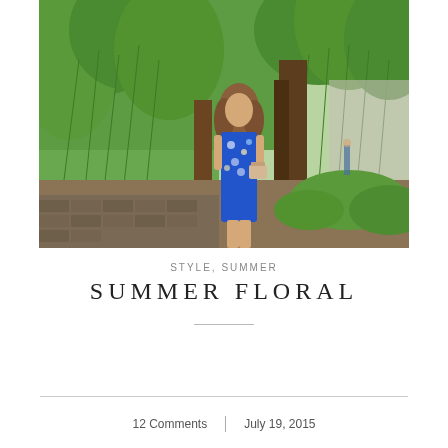[Figure (photo): Woman in a blue floral dress standing outdoors among weeping willow trees and green foliage, holding a small pink/nude handbag. Park setting with cobblestone path.]
STYLE, SUMMER
SUMMER FLORAL
12 Comments  |  July 19, 2015